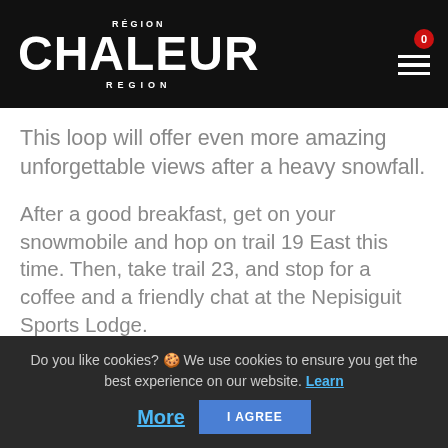RÉGION CHALEUR REGION
This loop will offer even more amazing unforgettable views after a heavy snowfall.
After a good breakfast, get on your snowmobile and hop on trail 19 East this time. Then, take trail 23, and stop for a coffee and a friendly chat at the Nepisiguit Sports Lodge.
Do you like cookies? 🍪 We use cookies to ensure you get the best experience on our website. Learn More
I AGREE